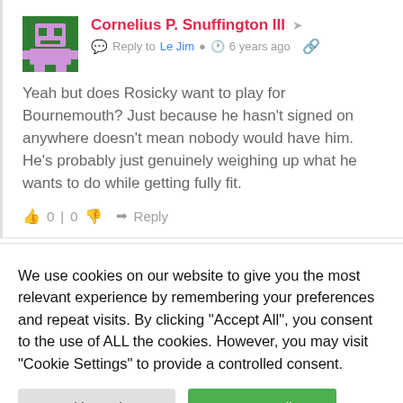[Figure (illustration): Green pixel-art avatar with purple robot/character design]
Cornelius P. Snuffington III
Reply to Le Jim  6 years ago
Yeah but does Rosicky want to play for Bournemouth? Just because he hasn't signed on anywhere doesn't mean nobody would have him. He's probably just genuinely weighing up what he wants to do while getting fully fit.
0 | 0   Reply
We use cookies on our website to give you the most relevant experience by remembering your preferences and repeat visits. By clicking "Accept All", you consent to the use of ALL the cookies. However, you may visit "Cookie Settings" to provide a controlled consent.
Cookie Settings
Accept All